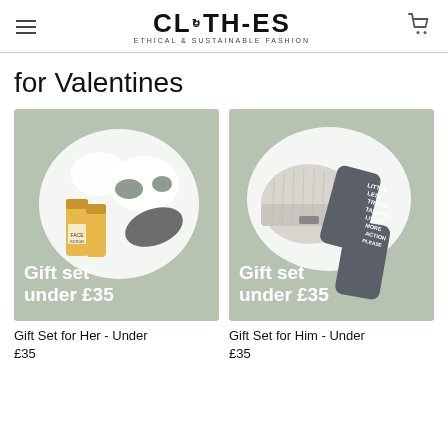CLOTH-ES — ETHICAL & SUSTAINABLE FASHION
for Valentines
[Figure (photo): Gift set for her product image on sage green background showing skincare tubes and white fabric items, with text 'Gift set under £35']
Gift Set for Her - Under £35
[Figure (photo): Gift set for him product image on sage green background showing a beanie hat and grey socks, with text 'Gift set under £35']
Gift Set for Him - Under £35